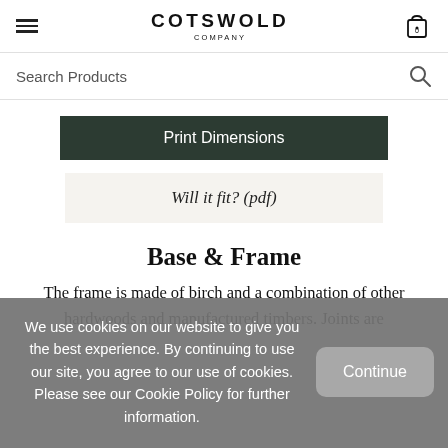COTSWOLD COMPANY
Search Products
Print Dimensions
Will it fit? (pdf)
Base & Frame
The frame is made of birch and a combination of other hardwoods and manufactured timbers. Joints are
We use cookies on our website to give you the best experience. By continuing to use our site, you agree to our use of cookies. Please see our Cookie Policy for further information.
Continue